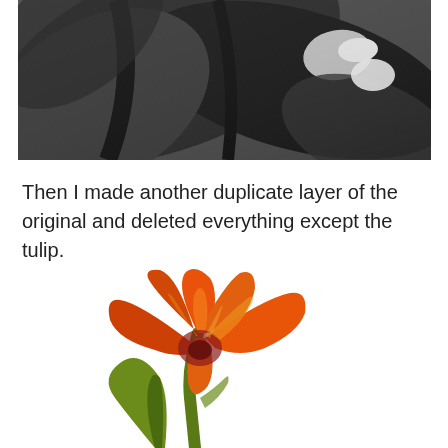[Figure (photo): Black and white close-up photograph of large tropical leaves with dramatic shadows and a small bright highlight]
Then I made another duplicate layer of the original and deleted everything except the tulip.
[Figure (photo): Color photograph of an orange and red tulip flower with green leaves on a white background, with the background removed except for the tulip]